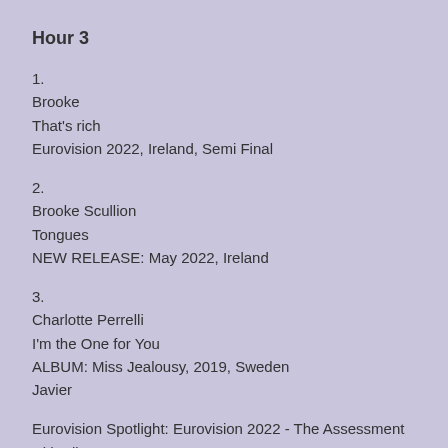Hour 3
1.
Brooke
That's rich
Eurovision 2022, Ireland, Semi Final
2.
Brooke Scullion
Tongues
NEW RELEASE: May 2022, Ireland
3.
Charlotte Perrelli
I'm the One for You
ALBUM: Miss Jealousy, 2019, Sweden
Javier
Eurovision Spotlight: Eurovision 2022 - The Assessment with Ally